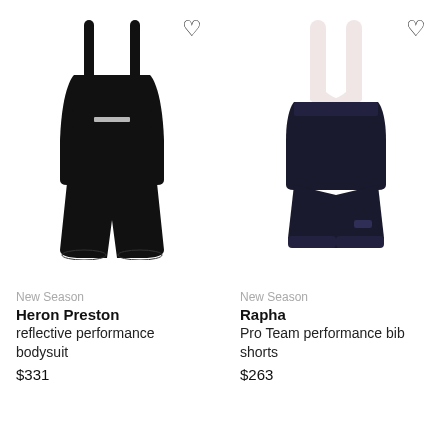[Figure (photo): Black Heron Preston reflective performance bodysuit on white background]
[Figure (photo): Rapha Pro Team performance bib shorts in dark navy/black with white bib straps on white background]
New Season
Heron Preston
reflective performance bodysuit
$331
New Season
Rapha
Pro Team performance bib shorts
$263